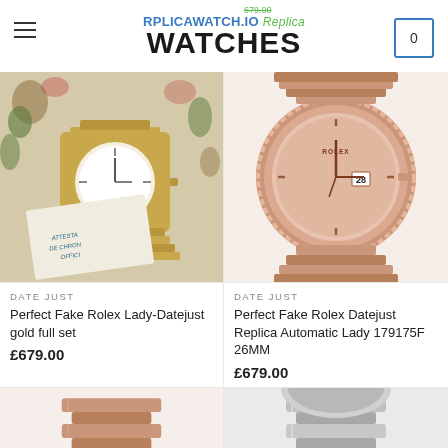RPLICAWATCH.IO Replica WATCHES
[Figure (photo): Gold Rolex Lady-Datejust watch on floral fabric with certification papers]
[Figure (photo): Rose gold Rolex Datejust Lady watch face showing date 28]
DATE JUST
Perfect Fake Rolex Lady-Datejust gold full set
£679.00
DATE JUST
Perfect Fake Rolex Datejust Replica Automatic Lady 179175F 26MM
£679.00
[Figure (photo): Partial view of rose gold watch bracelet]
[Figure (photo): Partial view of silver/steel watch]